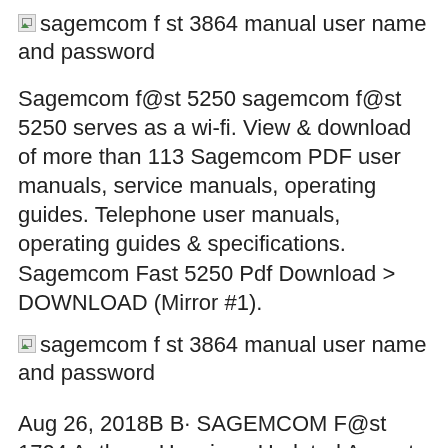[Figure (other): Broken image icon with alt text: sagemcom f st 3864 manual user name and password]
Sagemcom f@st 5250 sagemcom f@st 5250 serves as a wi-fi. View & download of more than 113 Sagemcom PDF user manuals, service manuals, operating guides. Telephone user manuals, operating guides & specifications. Sagemcom Fast 5250 Pdf Download > DOWNLOAD (Mirror #1).
[Figure (other): Broken image icon with alt text: sagemcom f st 3864 manual user name and password]
Aug 26, 2018B B· SAGEMCOM F@st 1704 Anthony Honciano Updated August 25, 2018 11:11. Follow SAGEMCOM F@st 1704 STEP: